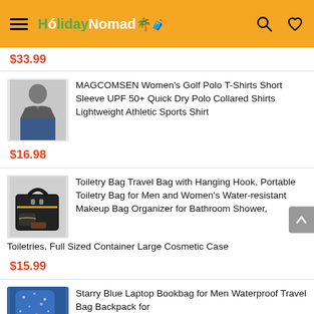HolidayNomad (navigation header with hamburger menu, logo, search and heart icons)
$33.99
MAGCOMSEN Women's Golf Polo T-Shirts Short Sleeve UPF 50+ Quick Dry Polo Collared Shirts Lightweight Athletic Sports Shirt
$16.98
Toiletry Bag Travel Bag with Hanging Hook, Portable Toiletry Bag for Men and Women's Water-resistant Makeup Bag Organizer for Bathroom Shower, Toiletries, Full Sized Container Large Cosmetic Case
$15.99
Starry Blue Laptop Bookbag for Men Waterproof Travel Bag Backpack for